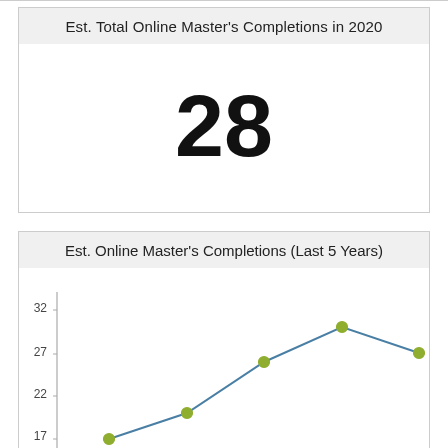Est. Total Online Master's Completions in 2020
28
Est. Online Master's Completions (Last 5 Years)
[Figure (line-chart): Est. Online Master's Completions (Last 5 Years)]